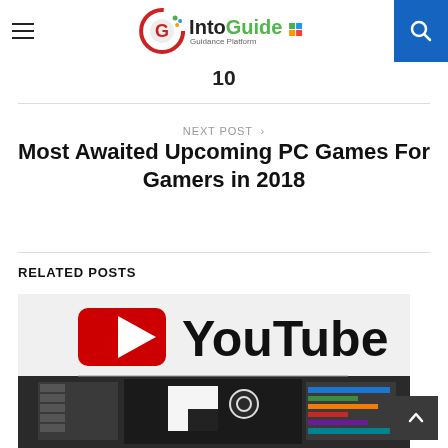IntoGuide - Guidance Platform
10
NEXT POST >
Most Awaited Upcoming PC Games For Gamers in 2018
RELATED POSTS
[Figure (screenshot): YouTube logo with a video editing software screenshot below it. Red YouTube play button icon beside bold black YouTube wordmark. Below is a dark-themed video editor interface.]